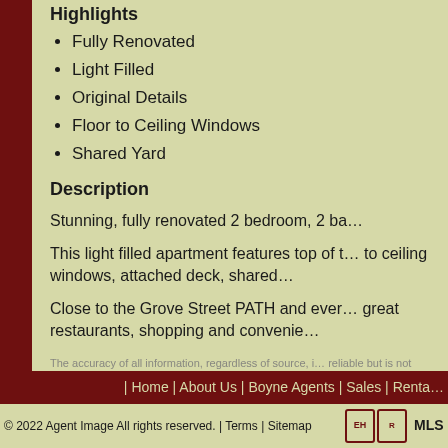Highlights
Fully Renovated
Light Filled
Original Details
Floor to Ceiling Windows
Shared Yard
Description
Stunning, fully renovated 2 bedroom, 2 ba…
This light filled apartment features top of t… to ceiling windows, attached deck, shared…
Close to the Grove Street PATH and ever… great restaurants, shopping and convenie…
The accuracy of all information, regardless of source, i… reliable but is not guaranteed and should be independe… professionals. The information at this site is provided so… rent, or advertise real estate outside the state in which… or representations concerning any of these properties i… guaranteed and should be independently verified.
| Home | About Us | Boyne Agents | Sales | Renta…
© 2022 Agent Image All rights reserved. | Terms | Sitemap